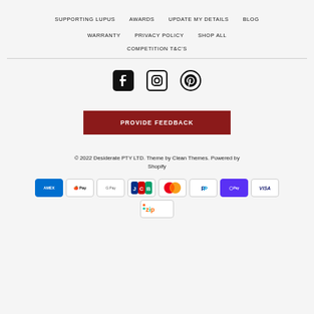SUPPORTING LUPUS   AWARDS   UPDATE MY DETAILS   BLOG   WARRANTY   PRIVACY POLICY   SHOP ALL   COMPETITION T&C'S
[Figure (illustration): Social media icons: Facebook, Instagram, Pinterest]
PROVIDE FEEDBACK
© 2022 Desiderate PTY LTD. Theme by Clean Themes. Powered by Shopify
[Figure (illustration): Payment method icons: American Express, Apple Pay, Google Pay, JCB, Mastercard, PayPal, Shop Pay, Visa, Zip]